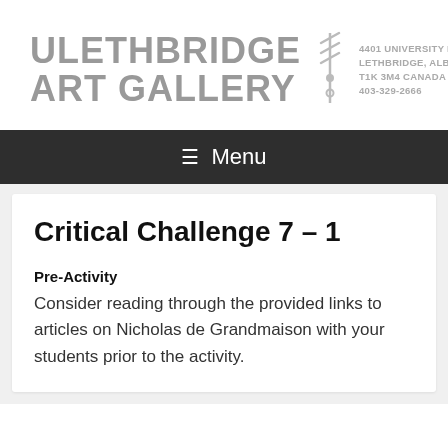[Figure (logo): U Lethbridge Art Gallery logo with stylized torch icon and address block]
≡ Menu
Critical Challenge 7 – 1
Pre-Activity
Consider reading through the provided links to articles on Nicholas de Grandmaison with your students prior to the activity.